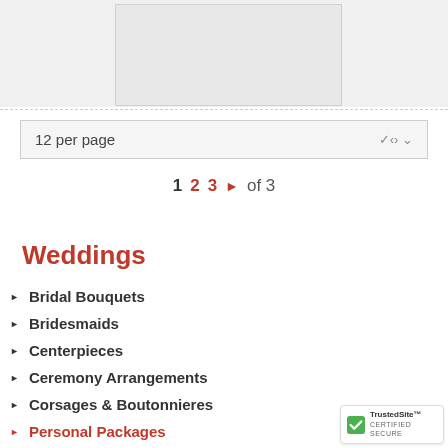[Figure (other): Partial product/floral image visible at top of page within a light gray box]
12 per page
1  2  3  ▶  of 3
Weddings
Bridal Bouquets
Bridesmaids
Centerpieces
Ceremony Arrangements
Corsages & Boutonnieres
Personal Packages
[Figure (logo): TrustedSite CERTIFIED SECURE badge in bottom right corner]